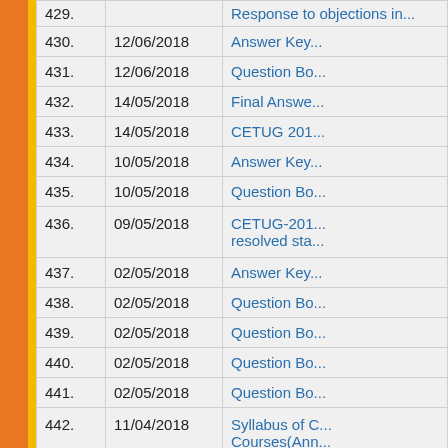| # | Date | Title |
| --- | --- | --- |
| 429. | 14/11/2018 | Response to objections in... |
| 430. | 12/06/2018 | Answer Key... |
| 431. | 12/06/2018 | Question Bo... |
| 432. | 14/05/2018 | Final Answe... |
| 433. | 14/05/2018 | CETUG 201... |
| 434. | 10/05/2018 | Answer Key... |
| 435. | 10/05/2018 | Question Bo... |
| 436. | 09/05/2018 | CETUG-201... resolved sta... |
| 437. | 02/05/2018 | Answer Key... |
| 438. | 02/05/2018 | Question Bo... |
| 439. | 02/05/2018 | Question Bo... |
| 440. | 02/05/2018 | Question Bo... |
| 441. | 02/05/2018 | Question Bo... |
| 442. | 11/04/2018 | Syllabus of C... Courses(Ann... 2018 |
| 443. | 03/04/2018 | Grant of gold... Semester Sy... |